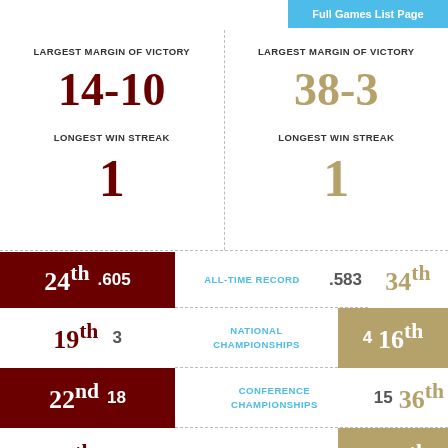Full Games List Page
LARGEST MARGIN OF VICTORY
14-10
LONGEST WIN STREAK
1
LARGEST MARGIN OF VICTORY
38-3
LONGEST WIN STREAK
1
24th .605 ALL-TIME RECORD .583 34th
19th 3 NATIONAL CHAMPIONSHIPS 4 16th
22nd 18 CONFERENCE CHAMPIONSHIPS 15 36th
18th 42 BOWL GAMES 45 16th